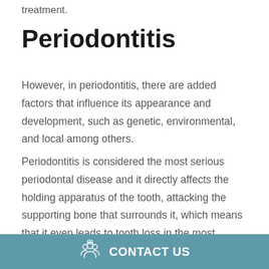treatment.
Periodontitis
However, in periodontitis, there are added factors that influence its appearance and development, such as genetic, environmental, and local among others.
Periodontitis is considered the most serious periodontal disease and it directly affects the holding apparatus of the tooth, attacking the supporting bone that surrounds it, which means that it even leads to tooth loss in the most advanced stages of the disease.
CONTACT US